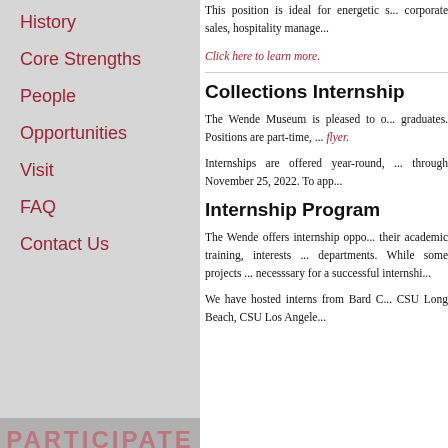History
Core Strengths
People
Opportunities
Visit
FAQ
Contact Us
[Figure (screenshot): PARTICIPATE banner with social media icons (Facebook, Flickr, YouTube, WordPress) and MY WENDE Register/Login links]
[Figure (photo): Gray image placeholder at bottom left]
This position is ideal for energetic s... corporate sales, hospitality manage...
Click here to learn more.
Collections Internship
The Wende Museum is pleased to o... graduates. Positions are part-time, ... flyer.
Internships are offered year-round, ... through November 25, 2022. To app...
Internship Program
The Wende offers internship oppo... their academic training, interests ... departments. While some projects ... necesssary for a successful internshi...
We have hosted interns from Bard C... CSU Long Beach, CSU Los Angele...